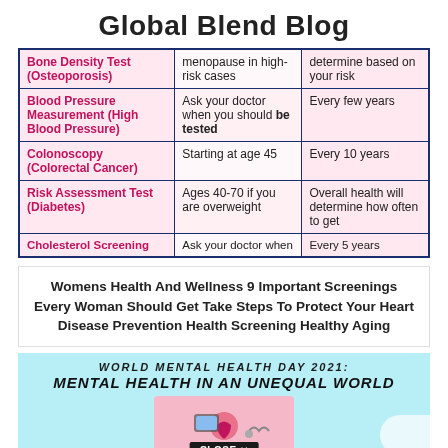Global Blend Blog
| Screening | When | Frequency |
| --- | --- | --- |
| Bone Density Test (Osteoporosis) | menopause in high-risk cases | determine based on your risk |
| Blood Pressure Measurement (High Blood Pressure) | Ask your doctor when you should be tested | Every few years |
| Colonoscopy (Colorectal Cancer) | Starting at age 45 | Every 10 years |
| Risk Assessment Test (Diabetes) | Ages 40-70 if you are overweight | Overall health will determine how often to get |
| Cholesterol Screening | Ask your doctor when | Every 5 years |
Womens Health And Wellness 9 Important Screenings Every Woman Should Get Take Steps To Protect Your Heart Disease Prevention Health Screening Healthy Aging
[Figure (photo): World Mental Health Day 2021 - Mental Health In An Unequal World banner with a pink background image showing a heart, phone, and stethoscope, with a CLOSE X button overlay]